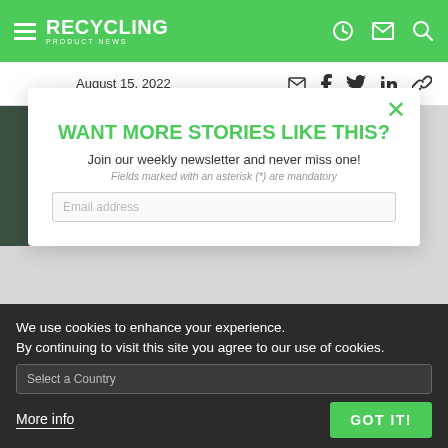RECYCLING PRODUCT NEWS
August 15, 2022
[Figure (screenshot): Newsletter signup modal overlay on Recycling Product News website with cookie consent banner]
WANT MORE STORIES LIKE THIS?
Join our weekly newsletter and never miss one!
Fields marked with an asterisk (*) are mandatory
Email address
Name
Select a Country
We use cookies to enhance your experience.
By continuing to visit this site you agree to our use of cookies.
More info
GOT IT!